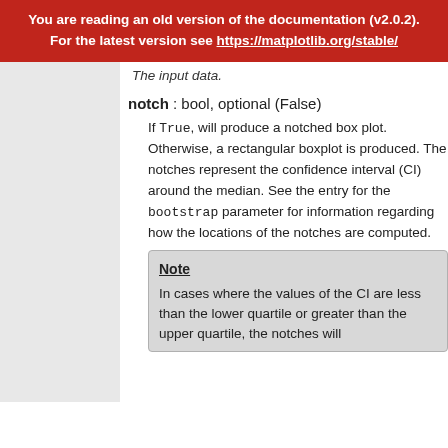You are reading an old version of the documentation (v2.0.2). For the latest version see https://matplotlib.org/stable/
The input data.
notch : bool, optional (False)
If True, will produce a notched box plot. Otherwise, a rectangular boxplot is produced. The notches represent the confidence interval (CI) around the median. See the entry for the bootstrap parameter for information regarding how the locations of the notches are computed.
Note
In cases where the values of the CI are less than the lower quartile or greater than the upper quartile, the notches will